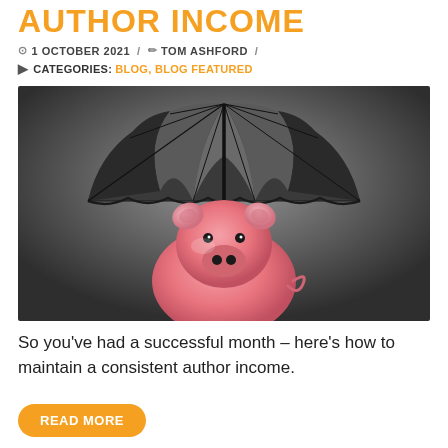AUTHOR INCOME
1 OCTOBER 2021 / TOM ASHFORD /
CATEGORIES: BLOG, BLOG FEATURED
[Figure (photo): A pink ceramic piggy bank sitting beneath a large open black umbrella, photographed against a dark gray gradient background. The image conveys financial protection or savings security.]
So you've had a successful month – here's how to maintain a consistent author income.
READ MORE